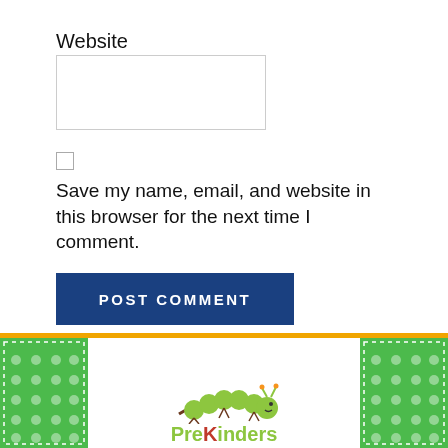Website
Save my name, email, and website in this browser for the next time I comment.
POST COMMENT
[Figure (logo): PreKinders logo with caterpillar mascot and green polka-dot banner at the bottom of the page]